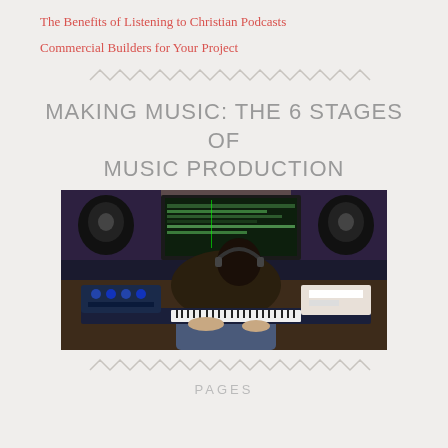The Benefits of Listening to Christian Podcasts
Commercial Builders for Your Project
MAKING MUSIC: THE 6 STAGES OF MUSIC PRODUCTION
[Figure (photo): Person sitting at a music production studio desk with keyboard controller, mixing equipment, monitors/speakers, and a large screen showing a DAW, viewed from behind]
PAGES